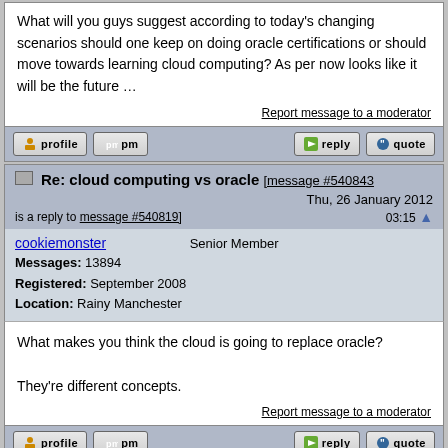What will you guys suggest according to today's changing scenarios should one keep on doing oracle certifications or should move towards learning cloud computing? As per now looks like it will be the future ...
Report message to a moderator
Re: cloud computing vs oracle [message #540843] Thu, 26 January 2012 03:15 is a reply to message #540819]
cookiemonster
Senior Member
Messages: 13894
Registered: September 2008
Location: Rainy Manchester
What makes you think the cloud is going to replace oracle?
They're different concepts.
Report message to a moderator